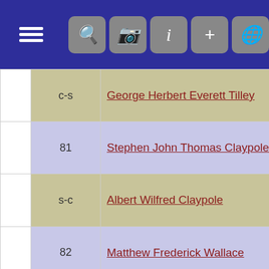[Figure (screenshot): Navigation bar with hamburger menu icon and 5 tool icons (search, camera, info, plus, globe) on dark blue background]
|  | Code | Name | Dates | Spouse |
| --- | --- | --- | --- | --- |
|  | c-s | George Herbert Everett Tilley | 1896 to 1970 | Florrie Louisa |
|  | 81 | Stephen John Thomas Claypole | 1911 to 1985 | Ethel Elizabet |
|  | s-c | Albert Wilfred Claypole | 1912 to 1973 | Ruby Alice Gli |
|  | 82 | Matthew Frederick Wallace | 1898 to 1970 | Elsie E Simps |
|  | s-s | George Wallace | 1904 to | Dorothy Simps |
|  | 83 | Cyril Rayton | 1911 to | Lizzie Timms |
|  | s-s | Frederick Rayton | 1905 to | Hilda Timms |